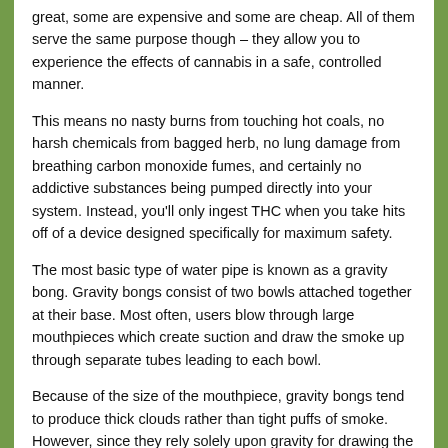great, some are expensive and some are cheap. All of them serve the same purpose though – they allow you to experience the effects of cannabis in a safe, controlled manner.
This means no nasty burns from touching hot coals, no harsh chemicals from bagged herb, no lung damage from breathing carbon monoxide fumes, and certainly no addictive substances being pumped directly into your system. Instead, you'll only ingest THC when you take hits off of a device designed specifically for maximum safety.
The most basic type of water pipe is known as a gravity bong. Gravity bongs consist of two bowls attached together at their base. Most often, users blow through large mouthpieces which create suction and draw the smoke up through separate tubes leading to each bowl.
Because of the size of the mouthpiece, gravity bongs tend to produce thick clouds rather than tight puffs of smoke. However, since they rely solely upon gravity for drawing the material up, they aren't recommended for people who suffer from respiratory ailments because they may cause severe coughing fits.
A less well-known type of device is available and should be noted the